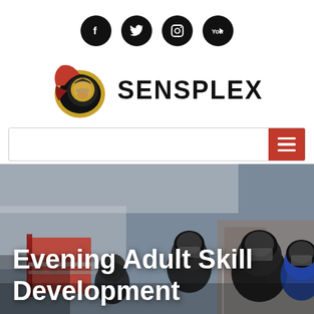Social media icons: Facebook, Twitter, Instagram, YouTube
[Figure (logo): Ottawa Senators / Sensplex logo with text SENSPLEX]
[Figure (infographic): Navigation bar with red hamburger menu icon on right]
[Figure (photo): Hockey players in helmets and jerseys on or near ice rink]
Evening Adult Skill Development